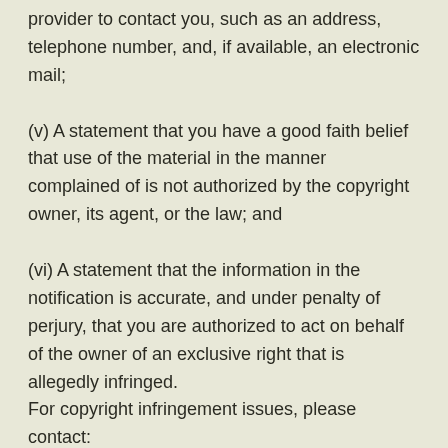provider to contact you, such as an address, telephone number, and, if available, an electronic mail;
(v) A statement that you have a good faith belief that use of the material in the manner complained of is not authorized by the copyright owner, its agent, or the law; and
(vi) A statement that the information in the notification is accurate, and under penalty of perjury, that you are authorized to act on behalf of the owner of an exclusive right that is allegedly infringed.
For copyright infringement issues, please contact: http://Boj.ph/contact/. For clarity, only DMCA notices should go to the Copyright Agent; You acknowledge that if you fail to comply with all of the requirements of this Section 5(D),